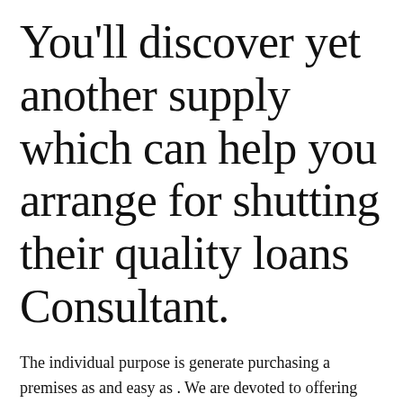You'll discover yet another supply which can help you arrange for shutting their quality loans Consultant.
The individual purpose is generate purchasing a premises as and easy as . We are devoted to offering help to explore the by giving apparent, giving you a home that is simply additi...